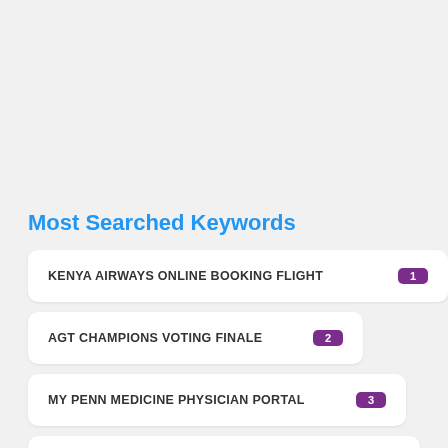Most Searched Keywords
KENYA AIRWAYS ONLINE BOOKING FLIGHT 1
AGT CHAMPIONS VOTING FINALE 2
MY PENN MEDICINE PHYSICIAN PORTAL 3
WHAT DO CLINICAL SOCIAL WORKERS DO 4